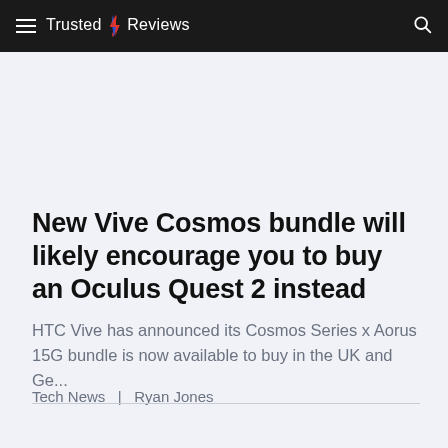Trusted Reviews
New Vive Cosmos bundle will likely encourage you to buy an Oculus Quest 2 instead
HTC Vive has announced its Cosmos Series x Aorus 15G bundle is now available to buy in the UK and Ge...
Tech News  |  Ryan Jones